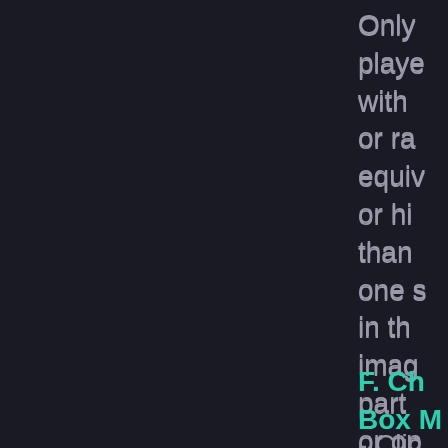Only players with or ra equiv or hi than one s in th imag part or op box.
F. Ch Box M
- Clic